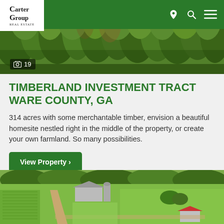[Figure (photo): Aerial view of timberland/forest with pine trees - property listing hero image with photo count badge showing 19]
TIMBERLAND INVESTMENT TRACT WARE COUNTY, GA
314 acres with some merchantable timber, envision a beautiful homesite nestled right in the middle of the property, or create your own farmland. So many possibilities.
View Property ›
[Figure (photo): Aerial drone view of farmland with barn, silos, green fields, and a dirt road]